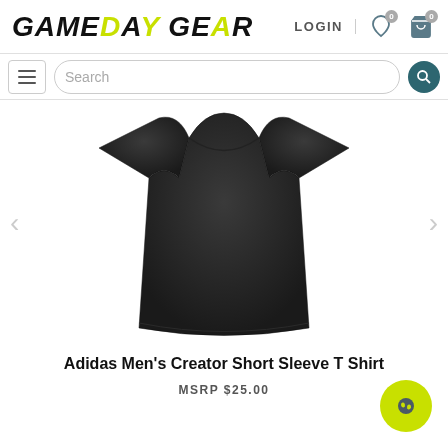GAMEDAY GEAR — LOGIN, wishlist (0), cart (0)
[Figure (screenshot): Search bar with hamburger menu on left and search button on right]
[Figure (photo): Dark charcoal/black Adidas Men's Creator Short Sleeve T-Shirt displayed on a white background with left and right navigation arrows]
Adidas Men's Creator Short Sleeve T Shirt
MSRP $25.00